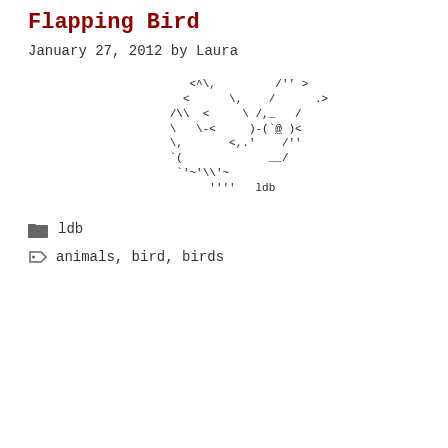Flapping Bird
January 27, 2012 by Laura
[Figure (illustration): ASCII art of a bird (flapping bird) made of text characters, with 'ldb' signature at the bottom right]
ldb
animals, bird, birds